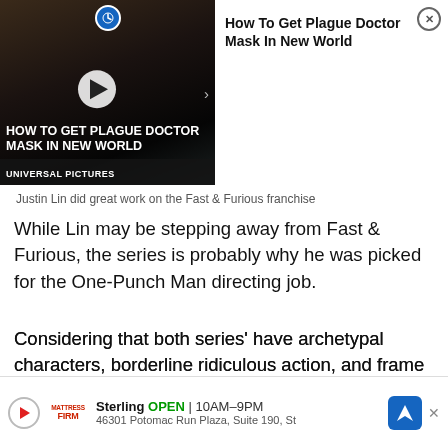[Figure (screenshot): Video ad thumbnail showing 'How To Get Plague Doctor Mask In New World' with play button, dark background, and Universal Pictures branding]
Justin Lin did great work on the Fast & Furious franchise
While Lin may be stepping away from Fast & Furious, the series is probably why he was picked for the One-Punch Man directing job.
Considering that both series' have archetypal characters, borderline ridiculous action, and frame their story around action set-pieces, Justin Lin seems the perfect person to tackle One-Punch Man to...
[Figure (screenshot): Ad banner for Sterling Mattress Firm: OPEN 10AM-9PM, 46301 Potomac Run Plaza, Suite 190, St]